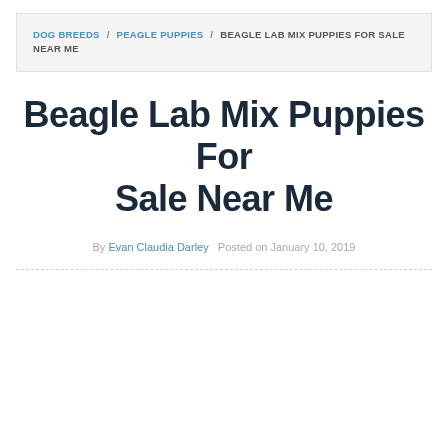DOG BREEDS / PEAGLE PUPPIES / BEAGLE LAB MIX PUPPIES FOR SALE NEAR ME
Beagle Lab Mix Puppies For Sale Near Me
By Evan Claudia Darley   Posted on January 10, 2019